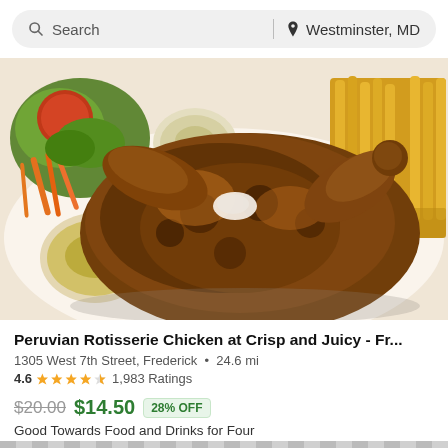Search | Westminster, MD
[Figure (photo): Photo of Peruvian rotisserie chicken served with salad, fries, and dipping sauces on a plate]
Peruvian Rotisserie Chicken at Crisp and Juicy - Fr...
1305 West 7th Street, Frederick • 24.6 mi
4.6 ★★★★½ 1,983 Ratings
$20.00 $14.50 28% OFF
Good Towards Food and Drinks for Four